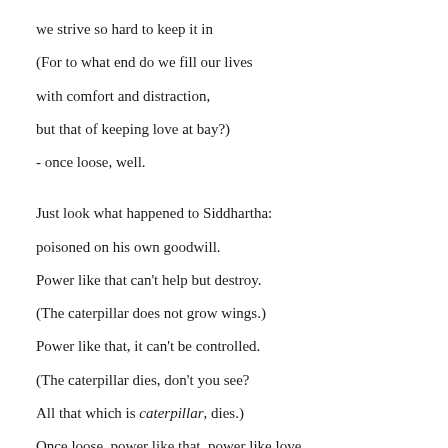we strive so hard to keep it in
(For to what end do we fill our lives
with comfort and distraction,
but that of keeping love at bay?)
- once loose, well.

Just look what happened to Siddhartha:
poisoned on his own goodwill.
Power like that can't help but destroy.
(The caterpillar does not grow wings.)
Power like that, it can't be controlled.
(The caterpillar dies, don't you see?
All that which is caterpillar, dies.)
Once loose, power like that, power like love,
it isn't what you think. You can't turn it off.
No picking and choosing,
remember? It doesn't matter